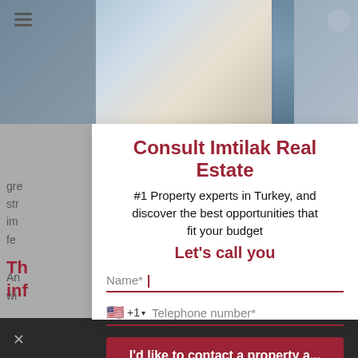[Figure (screenshot): Background of a webpage with blurred text and a header photo of a city and a person at a laptop. Overlaid by a white modal dialog.]
Consult Imtilak Real Estate
#1 Property experts in Turkey, and discover the best opportunities that fit your budget
Let's call you
Name*
+1  Telephone number*
I'd like to contact a property a...
The consultation is completely free